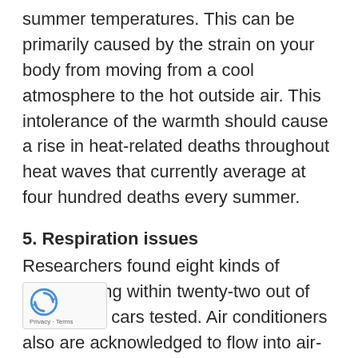summer temperatures. This can be primarily caused by the strain on your body from moving from a cool atmosphere to the hot outside air. This intolerance of the warmth should cause a rise in heat-related deaths throughout heat waves that currently average at four hundred deaths every summer.
5. Respiration issues
Researchers found eight kinds of mildew living within twenty-two out of twenty-five cars tested. Air conditioners also are acknowledged to flow into air-borne diseases like Legionnaire's wellness, a probably fatal communicable disease that produces high fever and respiratory disorder.